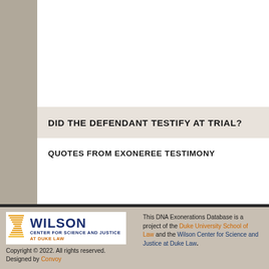DID THE DEFENDANT TESTIFY AT TRIAL?
QUOTES FROM EXONEREE TESTIMONY
[Figure (logo): Wilson Center for Science and Justice at Duke Law logo]
Copyright © 2022. All rights reserved.
Designed by Convoy
This DNA Exonerations Database is a project of the Duke University School of Law and the Wilson Center for Science and Justice at Duke Law.